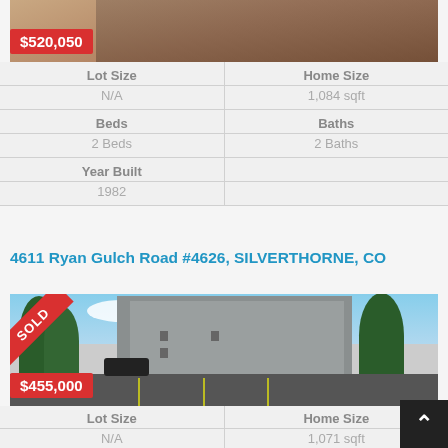[Figure (photo): Interior room photo with leather armchair, partially visible at top of page]
$520,050
| Lot Size | Home Size |
| --- | --- |
| N/A | 1,084 sqft |
| Beds | Baths |
| 2 Beds | 2 Baths |
| Year Built |  |
| 1982 |  |
4611 Ryan Gulch Road #4626, SILVERTHORNE, CO
[Figure (photo): Exterior photo of multi-story condominium building with trees, parking lot, and SOLD diagonal banner in top-left corner]
$455,000
| Lot Size | Home Size |
| --- | --- |
| N/A | 1,071 sqft |